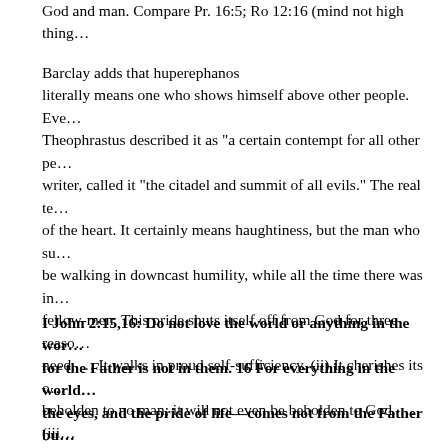God and man. Compare Pr. 16:5; Ro 12:16 (mind not high thing...
Barclay adds that huperephanos literally means one who shows himself above other people. Even Theophrastus described it as “a certain contempt for all other pe... writer, called it “the citadel and summit of all evils.” The real te... of the heart. It certainly means haughtiness, but the man who su... be walking in downcast humility, while all the time there was in... fellow-men. This pride shuts itself off from God for three reaso... need. … It walks in proud self-sufficiency. (ii) It cherishes its o... beholden to no man; it will not even be beholden to God. … (iii ... … A pride like that cannot receive help, because it does not kno... it cannot ask. It loves, not God, but itself.” (Barclay, W: The Da... Westminster Press or Logos)
I John 2:15,16: Do not love the world or anything in the wor... for the Father is not in them. 16 For everything in the world... the eyes, and the pride of life—comes not from the Father bu... and its desires pass away, but whoever does the will of God l...